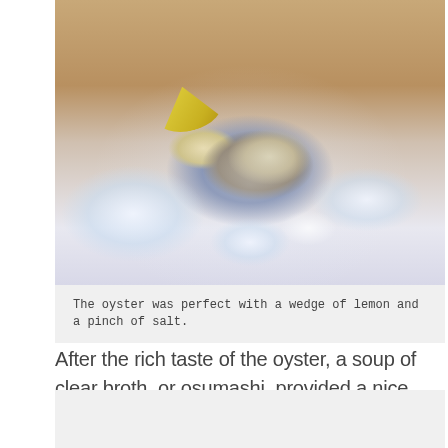[Figure (photo): An oyster on a white plate with crushed ice and a lemon wedge, photographed from above.]
The oyster was perfect with a wedge of lemon and a pinch of salt.
After the rich taste of the oyster, a soup of clear broth, or osumashi, provided a nice balance to the meal. It is said that the quality of a Japanese chef's cooking is revealed by the dashi broth he or she makes. The osumashi we enjoyed at Honoka that evening was of a very high quality – worthy of a fancier establishment.